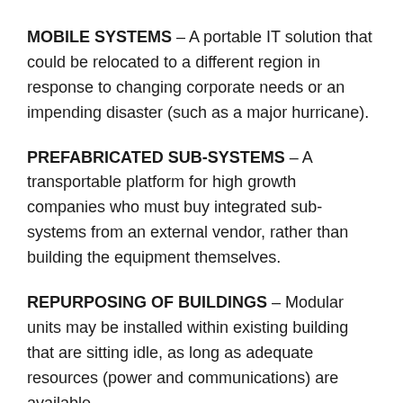MOBILE SYSTEMS – A portable IT solution that could be relocated to a different region in response to changing corporate needs or an impending disaster (such as a major hurricane).
PREFABRICATED SUB-SYSTEMS – A transportable platform for high growth companies who must buy integrated sub-systems from an external vendor, rather than building the equipment themselves.
REPURPOSING OF BUILDINGS – Modular units may be installed within existing building that are sitting idle, as long as adequate resources (power and communications) are available.
Anotherbig  benefit to portable mobile datacenter units is that they're built in a factory to exact specification.  As